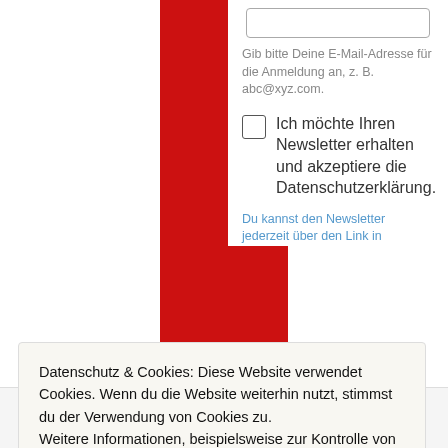Gib bitte Deine E-Mail-Adresse für die Anmeldung an, z. B. abc@xyz.com.
Ich möchte Ihren Newsletter erhalten und akzeptiere die Datenschutzerklärung.
Du kannst den Newsletter jederzeit über den Link in
Datenschutz & Cookies: Diese Website verwendet Cookies. Wenn du die Website weiterhin nutzt, stimmst du der Verwendung von Cookies zu.
Weitere Informationen, beispielsweise zur Kontrolle von Cookies, findest du hier: Cookie-Richtlinie
Schließen und akzeptieren
bestätigen Sie, die von Ihnen